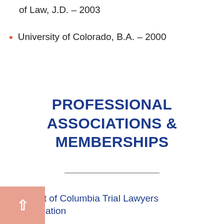of Law, J.D. – 2003
University of Colorado, B.A. – 2000
PROFESSIONAL ASSOCIATIONS & MEMBERSHIPS
District of Columbia Trial Lawyers Association